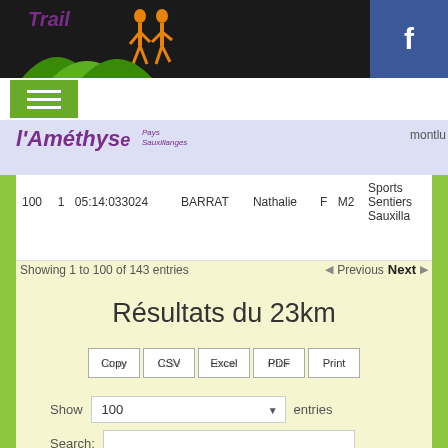[Figure (screenshot): Trail race website header with black bar, Trail logo in purple italic text, orange runner silhouettes, green hills graphic, Facebook button in blue]
[Figure (logo): L'Améthyste Pays Sauxillanges purple italic logo on lavender banner]
montlu
| 100 | 1 | 05:14:033024 | BARRAT | Nathalie | F | M2 | Sports Sentiers Sauxilla |
Showing 1 to 100 of 143 entries
Previous Next
Résultats du 23km
Copy CSV Excel PDF Print
Show 100 entries
Search: